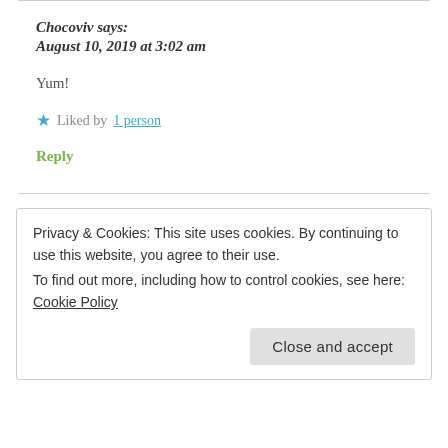Chocoviv says:
August 10, 2019 at 3:02 am
Yum!
Liked by 1 person
Reply
Privacy & Cookies: This site uses cookies. By continuing to use this website, you agree to their use.
To find out more, including how to control cookies, see here: Cookie Policy
Close and accept